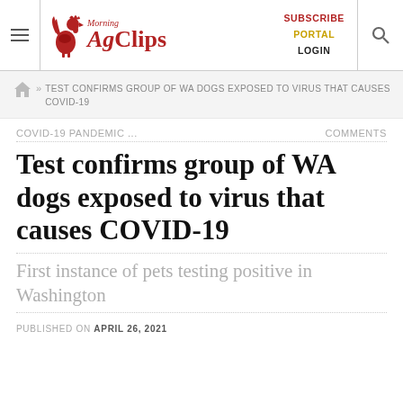Morning AgClips — SUBSCRIBE PORTAL LOGIN
TEST CONFIRMS GROUP OF WA DOGS EXPOSED TO VIRUS THAT CAUSES COVID-19
COVID-19 PANDEMIC ...  COMMENTS
Test confirms group of WA dogs exposed to virus that causes COVID-19
First instance of pets testing positive in Washington
PUBLISHED ON APRIL 26, 2021